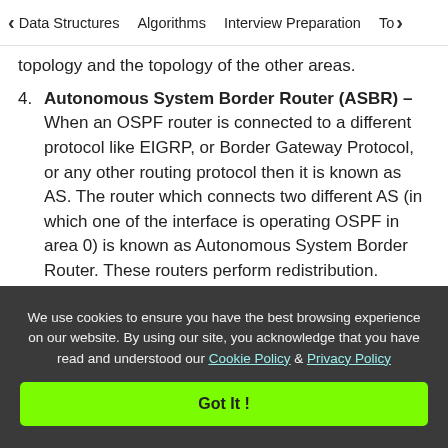< Data Structures   Algorithms   Interview Preparation   To>
topology and the topology of the other areas.
4. Autonomous System Border Router (ASBR) – When an OSPF router is connected to a different protocol like EIGRP, or Border Gateway Protocol, or any other routing protocol then it is known as AS. The router which connects two different AS (in which one of the interface is operating OSPF in area 0) is known as Autonomous System Border Router. These routers perform redistribution. ASBRs
We use cookies to ensure you have the best browsing experience on our website. By using our site, you acknowledge that you have read and understood our Cookie Policy & Privacy Policy
Got It !